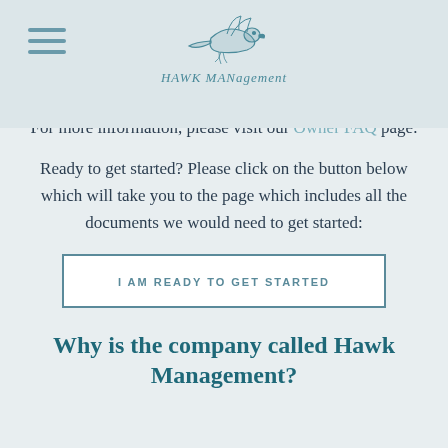HAWK MANagement
your property is in our hands, you'll be able to sleep well at night knowing we'll be watching your property like a Hawk!
For more information, please visit our Owner FAQ page.
Ready to get started?  Please click on the button below which will take you to the page which includes all the documents we would need to get started:
I AM READY TO GET STARTED
Why is the company called Hawk Management?